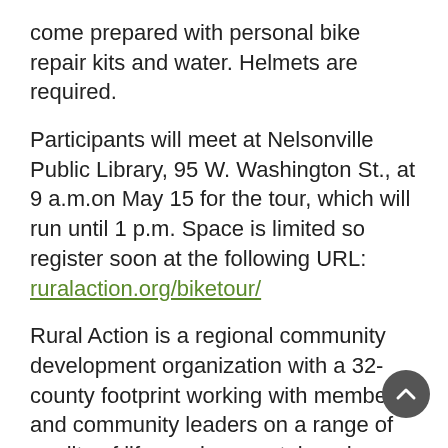come prepared with personal bike repair kits and water. Helmets are required.
Participants will meet at Nelsonville Public Library, 95 W. Washington St., at 9 a.m.on May 15 for the tour, which will run until 1 p.m. Space is limited so register soon at the following URL: ruralaction.org/biketour/
Rural Action is a regional community development organization with a 32-county footprint working with members and community leaders on a range of quality of life, environmental, and economic projects across rural Appalachian Ohio. Its mission is to build a more just economy by developing the region's assets in environmentally, socially, and